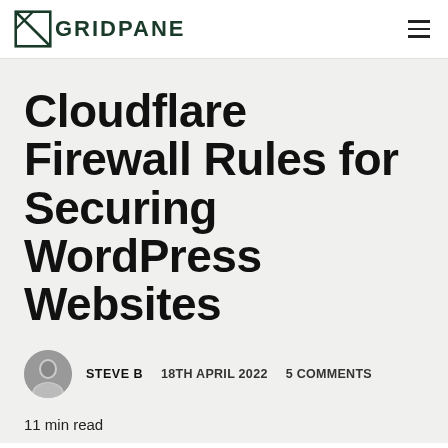GRIDPANE
Cloudflare Firewall Rules for Securing WordPress Websites
STEVE B   18TH APRIL 2022   5 COMMENTS
11 min read